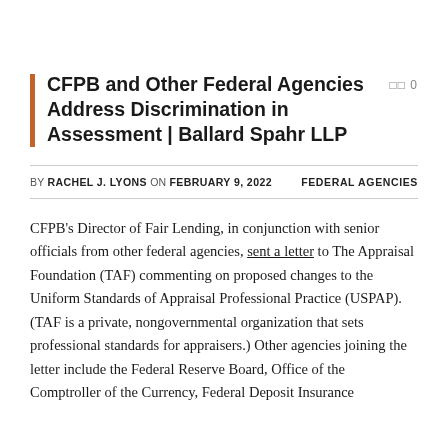CFPB and Other Federal Agencies Address Discrimination in Assessment | Ballard Spahr LLP
BY RACHEL J. LYONS ON FEBRUARY 9, 2022    FEDERAL AGENCIES
CFPB's Director of Fair Lending, in conjunction with senior officials from other federal agencies, sent a letter to The Appraisal Foundation (TAF) commenting on proposed changes to the Uniform Standards of Appraisal Professional Practice (USPAP). (TAF is a private, nongovernmental organization that sets professional standards for appraisers.) Other agencies joining the letter include the Federal Reserve Board, Office of the Comptroller of the Currency, Federal Deposit Insurance